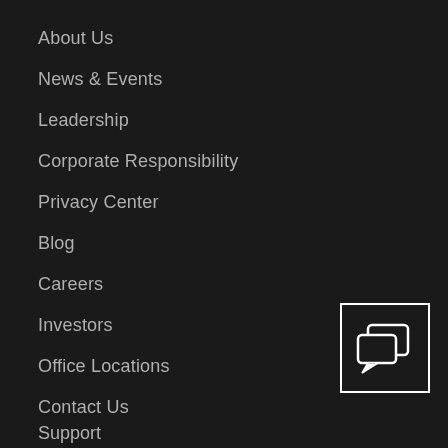About Us
News & Events
Leadership
Corporate Responsibility
Privacy Center
Blog
Careers
Investors
Office Locations
Contact Us
[Figure (illustration): Chat/messaging icon — two overlapping speech bubbles in white on a dark background, inside a white-bordered square]
Support